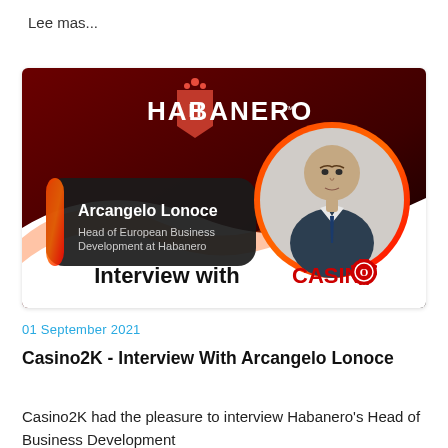Lee mas...
[Figure (illustration): Habanero brand interview banner showing Arcangelo Lonoce, Head of European Business Development at Habanero, with 'Interview with CASINO' text on a dark red/black background]
01 September 2021
Casino2K - Interview With Arcangelo Lonoce
Casino2K had the pleasure to interview Habanero's Head of Business Development